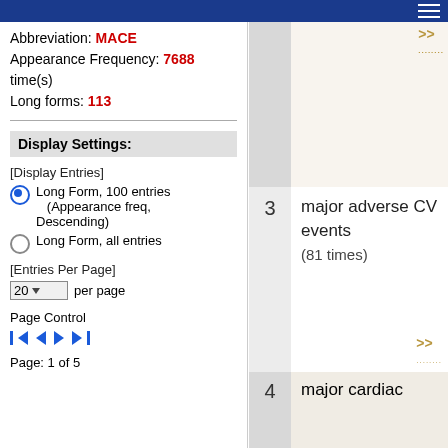Abbreviation: MACE
Appearance Frequency: 7688 time(s)
Long forms: 113
Display Settings:
[Display Entries]
Long Form, 100 entries (Appearance freq, Descending) [selected]
Long Form, all entries
[Entries Per Page]
20 per page
Page Control
Page: 1 of 5
| # | Long Form |
| --- | --- |
| 3 | major adverse CV events (81 times) |
| 4 | major cardiac |